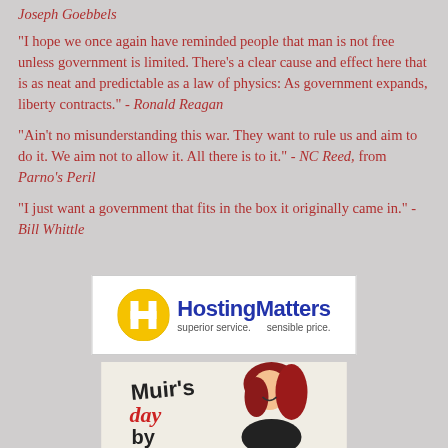Joseph Goebbels
"I hope we once again have reminded people that man is not free unless government is limited. There's a clear cause and effect here that is as neat and predictable as a law of physics: As government expands, liberty contracts." - Ronald Reagan
"Ain't no misunderstanding this war. They want to rule us and aim to do it. We aim not to allow it. All there is to it." - NC Reed, from Parno's Peril
"I just want a government that fits in the box it originally came in." - Bill Whittle
[Figure (logo): HostingMatters logo with yellow H icon, blue bold text 'HostingMatters', tagline 'superior service. sensible price.']
[Figure (illustration): Muir's day by day illustration with cartoon red-haired woman in black outfit, text in hand-drawn style]